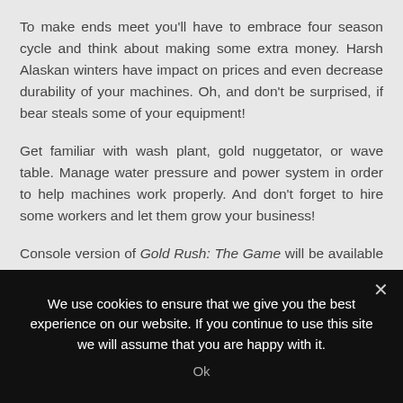To make ends meet you'll have to embrace four season cycle and think about making some extra money. Harsh Alaskan winters have impact on prices and even decrease durability of your machines. Oh, and don't be surprised, if bear steals some of your equipment!
Get familiar with wash plant, gold nuggetator, or wave table. Manage water pressure and power system in order to help machines work properly. And don't forget to hire some workers and let them grow your business!
Console version of Gold Rush: The Game will be available as digital release on May 28th on PlayStation 4 and Xbox One console family (including Frankenstein DLC). For
We use cookies to ensure that we give you the best experience on our website. If you continue to use this site we will assume that you are happy with it.
Ok